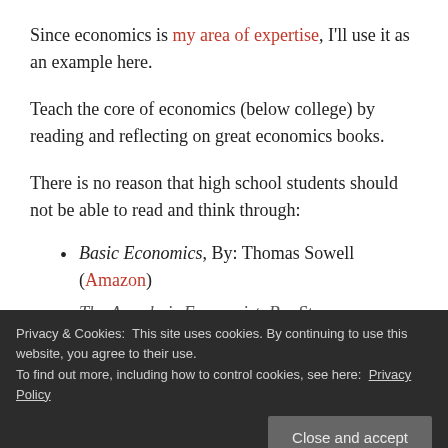Since economics is my area of expertise, I'll use it as an example here.
Teach the core of economics (below college) by reading and reflecting on great economics books.
There is no reason that high school students should not be able to read and think through:
Basic Economics, By: Thomas Sowell (Amazon)
The Armchair Economist, By: Ste...
Privacy & Cookies: This site uses cookies. By continuing to use this website, you agree to their use.
To find out more, including how to control cookies, see here: Privacy Policy
Close and accept